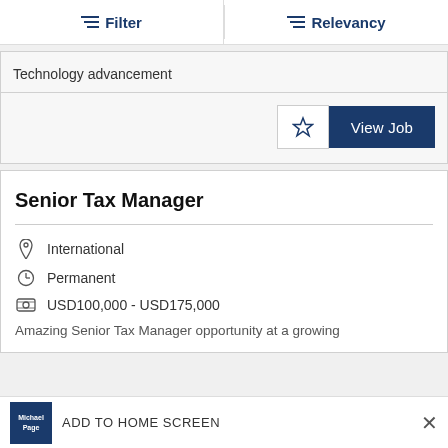Filter | Relevancy
Technology advancement
View Job
Senior Tax Manager
International
Permanent
USD100,000 - USD175,000
Amazing Senior Tax Manager opportunity at a growing
ADD TO HOME SCREEN